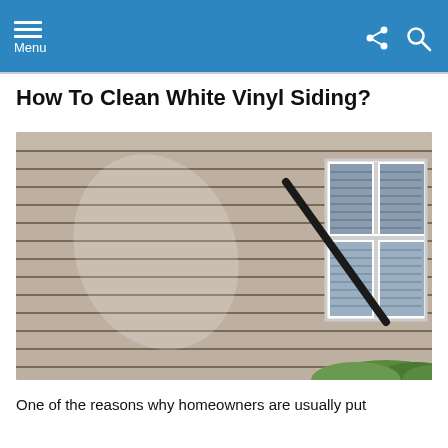Menu
How To Clean White Vinyl Siding?
[Figure (photo): A house exterior with horizontal vinyl siding being cleaned with a pressure washer wand. A white-framed multi-pane window is visible on the right side. Green foliage at bottom right.]
One of the reasons why homeowners are usually put